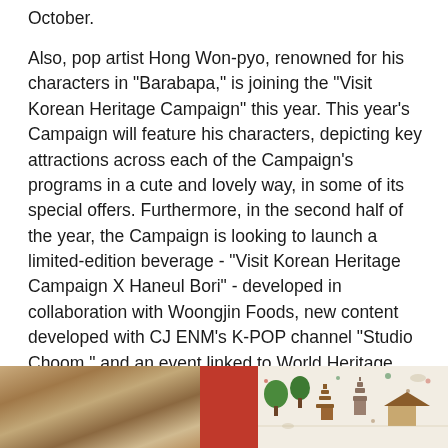October.
Also, pop artist Hong Won-pyo, renowned for his characters in “Barabapa,” is joining the “Visit Korean Heritage Campaign” this year. This year’s Campaign will feature his characters, depicting key attractions across each of the Campaign’s programs in a cute and lovely way, in some of its special offers. Furthermore, in the second half of the year, the Campaign is looking to launch a limited-edition beverage - “Visit Korean Heritage Campaign X Haneul Bori” - developed in collaboration with Woongjin Foods, new content developed with CJ ENM’s K-POP channel “Studio Choom,” and an event linked to World Heritage Festival with S-Oil.
[Figure (photo): Image showing Korean heritage themed artwork and decorative items: left portion shows aged/antique book or fabric texture in brown/tan tones, center shows a red/crimson colored item, and right portion shows illustrated Korean cultural scenes with pagodas, trees, and traditional elements on a cream/white background.]